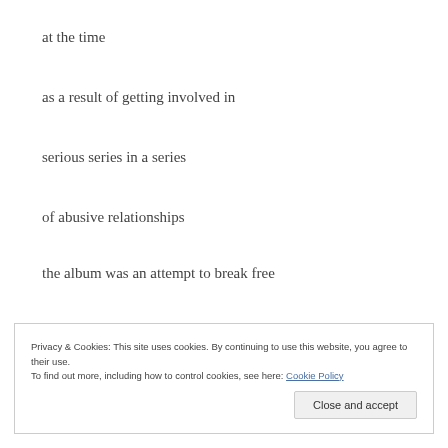at the time
as a result of getting involved in
serious series in a series
of abusive relationships
the album was an attempt to break free
from this vicious circle
Privacy & Cookies: This site uses cookies. By continuing to use this website, you agree to their use.
To find out more, including how to control cookies, see here: Cookie Policy